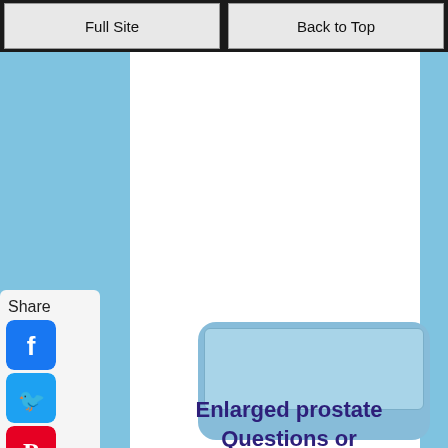Full Site | Back to Top
[Figure (screenshot): Social share panel with Facebook, Twitter, Pinterest, Tumblr, Reddit, WhatsApp, and Messenger icons]
[Figure (illustration): Blue rounded card with inner blue rectangle, advertisement or image placeholder area]
Enlarged prostate Questions or